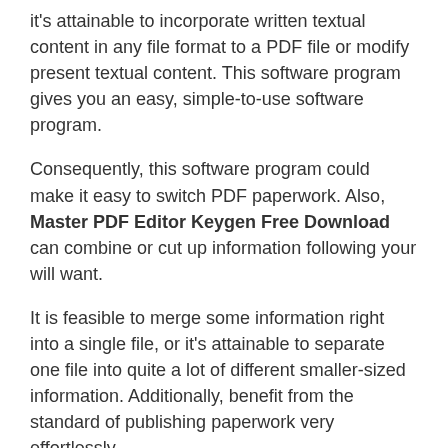it's attainable to incorporate written textual content in any file format to a PDF file or modify present textual content. This software program gives you an easy, simple-to-use software program.
Consequently, this software program could make it easy to switch PDF paperwork. Also, Master PDF Editor Keygen Free Download can combine or cut up information following your will want.
It is feasible to merge some information right into a single file, or it's attainable to separate one file into quite a lot of different smaller-sized information. Additionally, benefit from the standard of publishing paperwork very effortlessly.
Master PDF Editor Registration Code 2021 Full Version Free Download